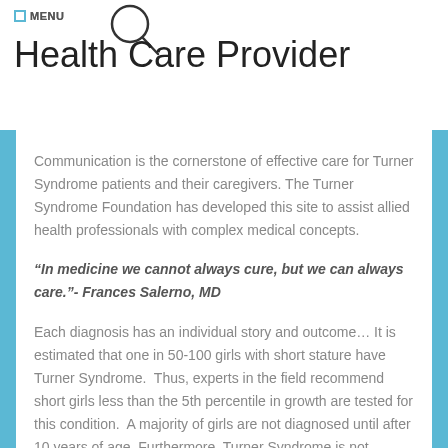MENU
Health Care Provider
Communication is the cornerstone of effective care for Turner Syndrome patients and their caregivers. The Turner Syndrome Foundation has developed this site to assist allied health professionals with complex medical concepts.
“In medicine we cannot always cure, but we can always care.”- Frances Salerno, MD
Each diagnosis has an individual story and outcome… It is estimated that one in 50-100 girls with short stature have Turner Syndrome.  Thus, experts in the field recommend short girls less than the 5th percentile in growth are tested for this condition.  A majority of girls are not diagnosed until after 10 years of age. Furthermore, Turner Syndrome is not